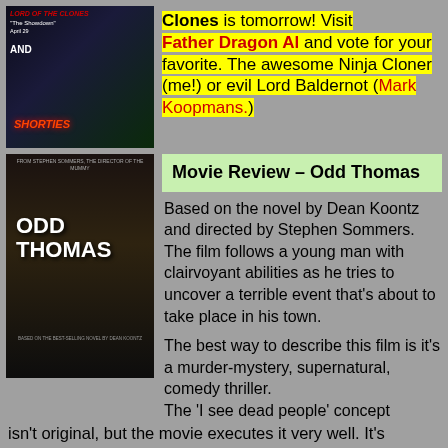[Figure (photo): Movie poster for 'Lord of the Clones / Shorties' with ninja and cartoon character imagery]
Clones is tomorrow! Visit Father Dragon Al and vote for your favorite. The awesome Ninja Cloner (me!) or evil Lord Baldernot (Mark Koopmans.)
[Figure (photo): Movie poster for 'Odd Thomas' directed by Stephen Sommers, based on the novel by Dean Koontz]
Movie Review – Odd Thomas
Based on the novel by Dean Koontz and directed by Stephen Sommers. The film follows a young man with clairvoyant abilities as he tries to uncover a terrible event that's about to take place in his town.
The best way to describe this film is it's a murder-mystery, supernatural, comedy thriller. The 'I see dead people' concept isn't original, but the movie executes it very well. It's incredibly entertaining, powerful, and hits all the right notes